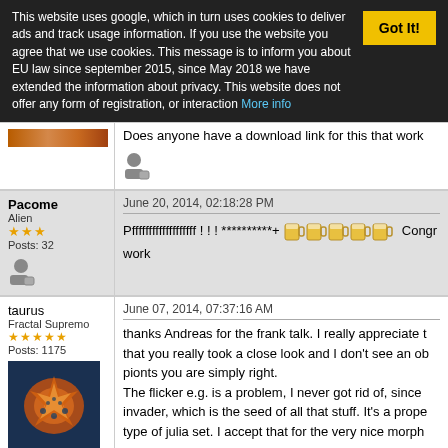This website uses google, which in turn uses cookies to deliver ads and track usage information. If you use the website you agree that we use cookies. This message is to inform you about EU law since september 2015, since May 2018 we have extended the information about privacy. This website does not offer any form of registration, or interaction More info
Does anyone have a download link for this that work
Pacome
Alien
Posts: 32
June 20, 2014, 02:18:28 PM
Pfffffffffffffffffff ! ! ! **********+ [beers] Congr work
taurus
Fractal Supremo
Posts: 1175
June 07, 2014, 07:37:16 AM
thanks Andreas for the frank talk. I really appreciate that you really took a close look and I don't see an ob pionts you are simply right.
The flicker e.g. is a problem, I never got rid of, since invader, which is the seed of all that stuff. It's a prope type of julia set. I accept that for the very nice morph
Just in general: I decided wetnesday after work, to g down on thursday morning 8am and finished work at used almost every single unpublished snippet I prod